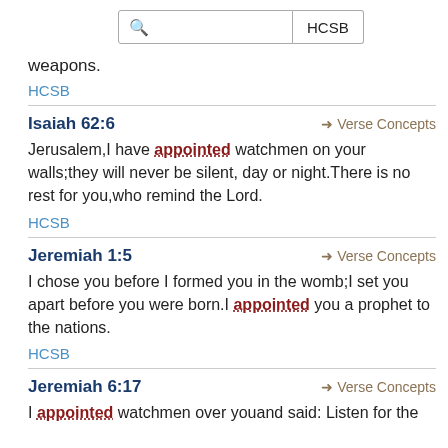[Figure (screenshot): Search bar with magnifying glass icon and HCSB label]
weapons.
HCSB
Isaiah 62:6
→ Verse Concepts
Jerusalem,I have appointed watchmen on your walls;they will never be silent, day or night.There is no rest for you,who remind the Lord.
HCSB
Jeremiah 1:5
→ Verse Concepts
I chose you before I formed you in the womb;I set you apart before you were born.I appointed you a prophet to the nations.
HCSB
Jeremiah 6:17
→ Verse Concepts
I appointed watchmen over youand said: Listen for the